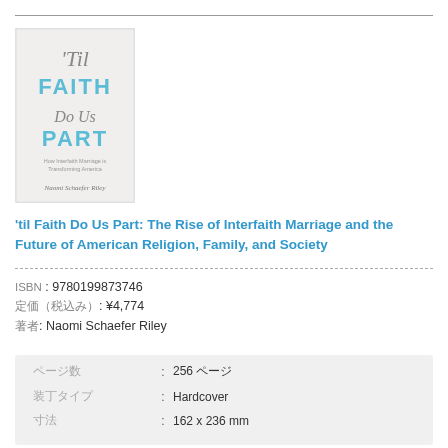[Figure (photo): Book cover of 'Til Faith Do Us Part: How Interfaith Marriage is Transforming America by Naomi Schaefer Riley. Cover has light gray/white background with script and block lettering in teal/blue.]
'til Faith Do Us Part: The Rise of Interfaith Marriage and the Future of American Religion, Family, and Society
ISBN : 9780199873746
定価（税込）: ¥4,774
著者: Naomi Schaefer Riley
| 属性 | : | 値 |
| --- | --- | --- |
| ページ数 | : | 256 ページ |
| 装丁タイプ | : | Hardcover |
| 寸法 | : | 162 x 236 mm |